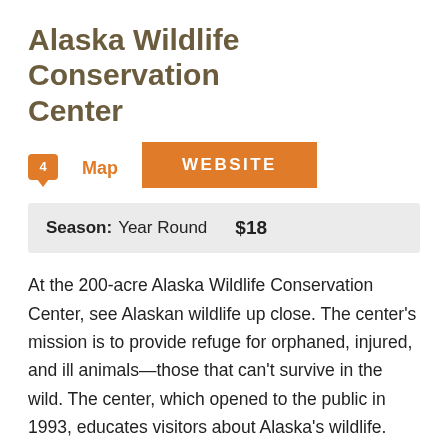Alaska Wildlife Conservation Center
Map  WEBSITE
| Season | Price |
| --- | --- |
| Year Round | $18 |
At the 200-acre Alaska Wildlife Conservation Center, see Alaskan wildlife up close. The center's mission is to provide refuge for orphaned, injured, and ill animals—those that can't survive in the wild. The center, which opened to the public in 1993, educates visitors about Alaska's wildlife. Coyotes peer out from behind the brush while a bald eagle swoops in